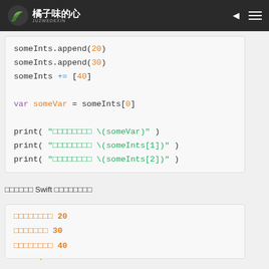橘子味的心 JUZWEDEXIN
[Figure (screenshot): Swift code block showing someInts.append(20), someInts.append(30), someInts += [40], var someVar = someInts[0], and print statements with string interpolation]
□□□□□□ Swift □□□□□□□□
[Figure (illustration): Dandelion illustration overlapping output block]
[Figure (screenshot): Output block showing: □□□□□□□ 20, □□□□□□ 30, □□□□□□□ 40]